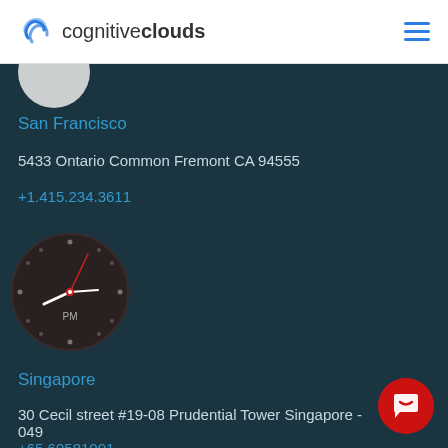cognitiveclouds
San Francisco
5433 Ontario Common Fremont CA 94555
+1.415.234.3611
[Figure (illustration): Analog clock face showing PM time with dark background, red second hand, white hour/minute hands, dotted hour markers]
Singapore
30 Cecil street #19-08 Prudential Tower Singapore - 049
+65.69581001